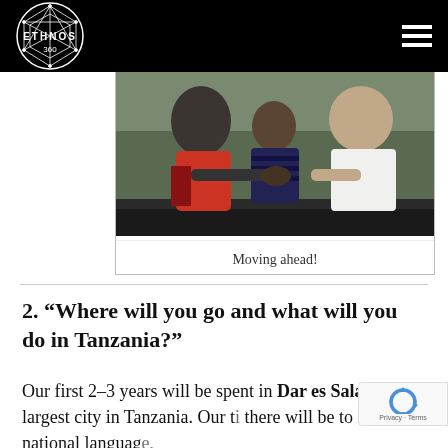ETHNOS 360
[Figure (photo): Photo of people sitting together, captioned 'Moving ahead!']
Moving ahead!
2. “Where will you go and what will you do in Tanzania?”
Our first 2-3 years will be spent in Dar es Salaam, the largest city in Tanzania. Our t[ime] there will be to learn the national languag[e,]